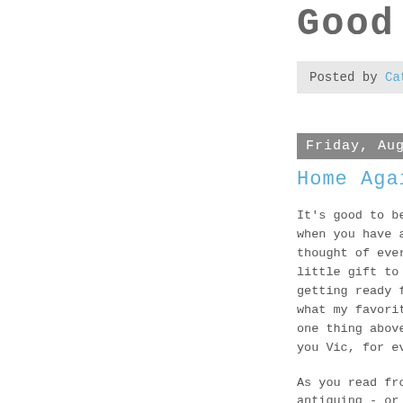Good Luck
Posted by Catherin
Friday, August 22
Home Again..Hom
It's good to be
when you have a
thought of every
little gift to g
getting ready fo
what my favorite
one thing above
you Vic, for eve
As you read from
antiquing - or t
a great time at